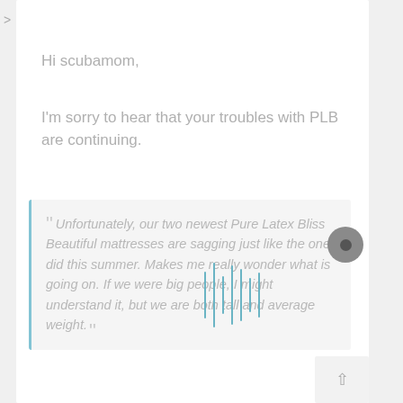>
Hi scubamom,
I'm sorry to hear that your troubles with PLB are continuing.
Unfortunately, our two newest Pure Latex Bliss Beautiful mattresses are sagging just like the one did this summer. Makes me really wonder what is going on. If we were big people, I might understand it, but we are both tall and average weight.
Are your sags "virtual" or "visible" ... and if they are visible how deep are they? I know you also had some issues with the foundations you were using and just to save me looking back can you remind me what both of your mattresses are currently using as a support system?